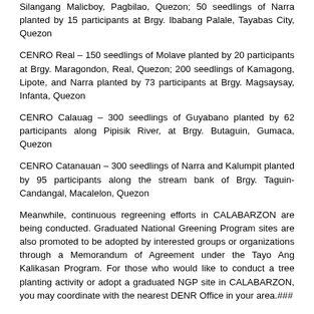Silangang Malicboy, Pagbilao, Quezon; 50 seedlings of Narra planted by 15 participants at Brgy. Ibabang Palale, Tayabas City, Quezon
CENRO Real – 150 seedlings of Molave planted by 20 participants at Brgy. Maragondon, Real, Quezon; 200 seedlings of Kamagong, Lipote, and Narra planted by 73 participants at Brgy. Magsaysay, Infanta, Quezon
CENRO Calauag – 300 seedlings of Guyabano planted by 62 participants along Pipisik River, at Brgy. Butaguin, Gumaca, Quezon
CENRO Catanauan – 300 seedlings of Narra and Kalumpit planted by 95 participants along the stream bank of Brgy. Taguin-Candangal, Macalelon, Quezon
Meanwhile, continuous regreening efforts in CALABARZON are being conducted. Graduated National Greening Program sites are also promoted to be adopted by interested groups or organizations through a Memorandum of Agreement under the Tayo Ang Kalikasan Program. For those who would like to conduct a tree planting activity or adopt a graduated NGP site in CALABARZON, you may coordinate with the nearest DENR Office in your area.###